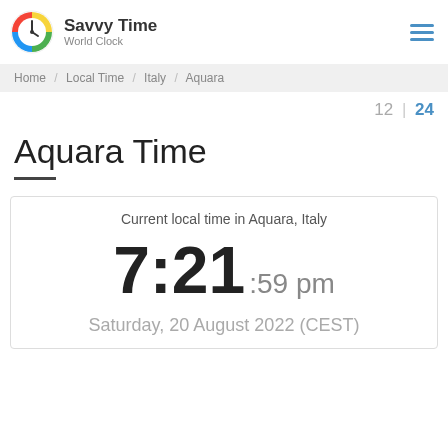Savvy Time World Clock
Home / Local Time / Italy / Aquara
12 | 24
Aquara Time
Current local time in Aquara, Italy
7:21 :59 pm
Saturday, 20 August 2022 (CEST)